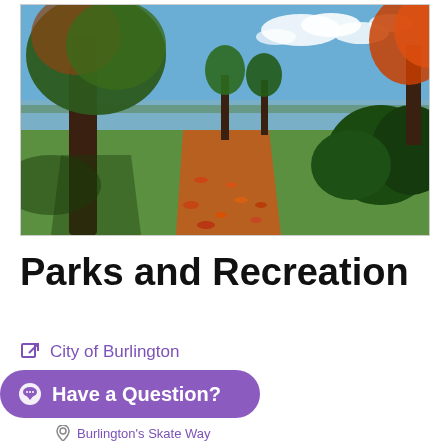[Figure (photo): Autumn park scene with large trees, fallen orange leaves on a path, green lawn, and a lake/ocean view under a blue sky with clouds]
Parks and Recreation
City of Burlington
Have a Question?
Burlington's Skate Way